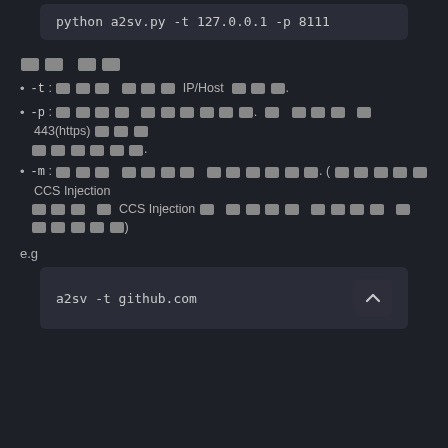python a2sv.py -t 127.0.0.1 -p 8111
[Korean text: 옵션 설명]
-t : [Korean] IP/Host [Korean].
-p : [Korean] [Korean]. 기 본 값 은 443(https)이며 [Korean].
-m : [Korean] [Korean] [Korean]. ([Korean] CCS Injection [Korean] 및 CCS Injection[Korean] [Korean] [Korean] [Korean])
e.g
a2sv -t github.com